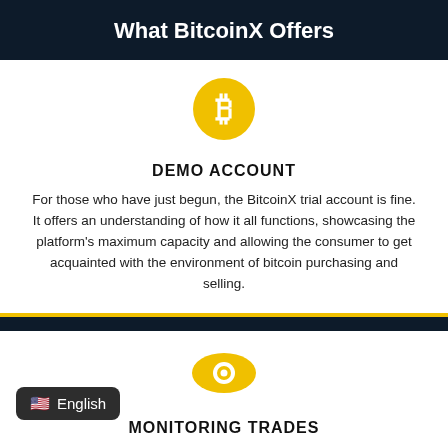What BitcoinX Offers
[Figure (illustration): Golden circle with Bitcoin 'B' symbol icon]
DEMO ACCOUNT
For those who have just begun, the BitcoinX trial account is fine. It offers an understanding of how it all functions, showcasing the platform's maximum capacity and allowing the consumer to get acquainted with the environment of bitcoin purchasing and selling.
[Figure (illustration): Golden eye/monitoring icon]
MONITORING TRADES
English